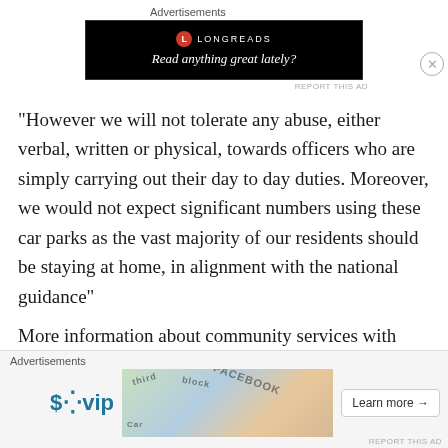[Figure (screenshot): Longreads advertisement banner with black background. Logo with red circle 'L' and 'LONGREADS' text. Tagline: 'Read anything great lately?']
“However we will not tolerate any abuse, either verbal, written or physical, towards officers who are simply carrying out their day to day duties. Moreover, we would not expect significant numbers using these car parks as the vast majority of our residents should be staying at home, in alignment with the national guidance”
More information about community services with have been affected by the COVID-19 situation can be found via www.sefton.gov.uk/communitycovid
[Figure (screenshot): WordPress VIP advertisement with map/social media imagery background and 'Learn more' button.]